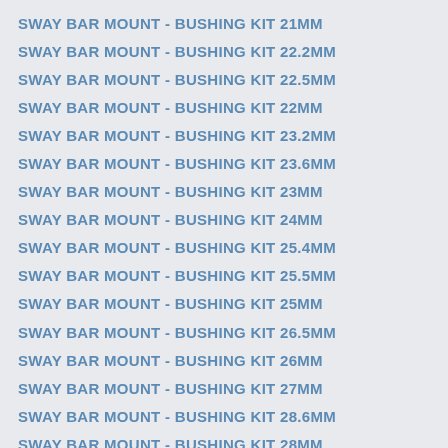SWAY BAR MOUNT - BUSHING KIT 21MM
SWAY BAR MOUNT - BUSHING KIT 22.2MM
SWAY BAR MOUNT - BUSHING KIT 22.5MM
SWAY BAR MOUNT - BUSHING KIT 22MM
SWAY BAR MOUNT - BUSHING KIT 23.2MM
SWAY BAR MOUNT - BUSHING KIT 23.6MM
SWAY BAR MOUNT - BUSHING KIT 23MM
SWAY BAR MOUNT - BUSHING KIT 24MM
SWAY BAR MOUNT - BUSHING KIT 25.4MM
SWAY BAR MOUNT - BUSHING KIT 25.5MM
SWAY BAR MOUNT - BUSHING KIT 25MM
SWAY BAR MOUNT - BUSHING KIT 26.5MM
SWAY BAR MOUNT - BUSHING KIT 26MM
SWAY BAR MOUNT - BUSHING KIT 27MM
SWAY BAR MOUNT - BUSHING KIT 28.6MM
SWAY BAR MOUNT - BUSHING KIT 28MM
SWAY BAR MOUNT - BUSHING KIT 29MM
SWAY BAR MOUNT - BUSHING KIT 30MM
SWAY BAR MOUNT - BUSHING KIT 31MM
SWAY BAR MOUNT - BUSHING KIT 32MM
SWAY BAR MOUNT - BUSHING KIT 33MM
SWAY BAR MOUNT - BUSHING KIT 34MM